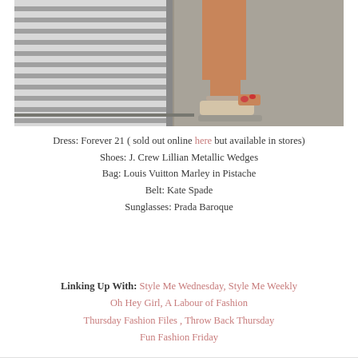[Figure (photo): Close-up photo of a woman's legs and feet wearing floral dress with metallic wedge sandals, standing on concrete pavement next to a white metal gate/shutter]
Dress: Forever 21 ( sold out online here but available in stores)
Shoes: J. Crew Lillian Metallic Wedges
Bag: Louis Vuitton Marley in Pistache
Belt: Kate Spade
Sunglasses: Prada Baroque
Linking Up With: Style Me Wednesday, Style Me Weekly Oh Hey Girl, A Labour of Fashion Thursday Fashion Files , Throw Back Thursday Fun Fashion Friday